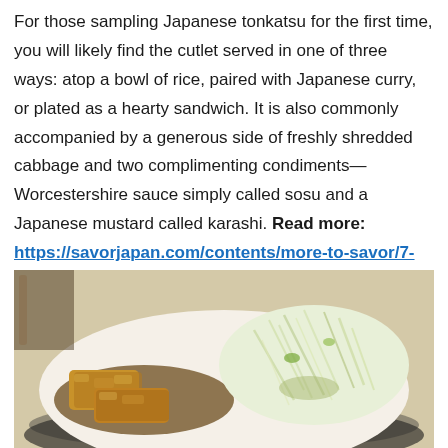For those sampling Japanese tonkatsu for the first time, you will likely find the cutlet served in one of three ways: atop a bowl of rice, paired with Japanese curry, or plated as a hearty sandwich. It is also commonly accompanied by a generous side of freshly shredded cabbage and two complimenting condiments—Worcestershire sauce simply called sosu and a Japanese mustard called karashi. Read more: https://savorjapan.com/contents/more-to-savor/7-best-tonkatsu-restaurants-in-tokyo:-a-cutlet-above-the-rest/
[Figure (photo): Close-up photo of a tonkatsu dish on a white plate with dark rim, showing breaded fried pork cutlet pieces and a mound of freshly shredded cabbage, with sauce visible.]